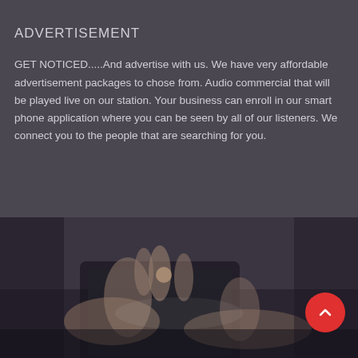ADVERTISEMENT
GET NOTICED.....And advertise with us. We have very affordable advertisement packages to chose from. Audio commercial that will be played live on our station. Your business can enroll in our smart phone application where you can be seen by all of our listeners. We connect you to the people that are searching for you.
[Figure (photo): A blurred photograph of hands using a smartphone or tablet on a dark surface.]